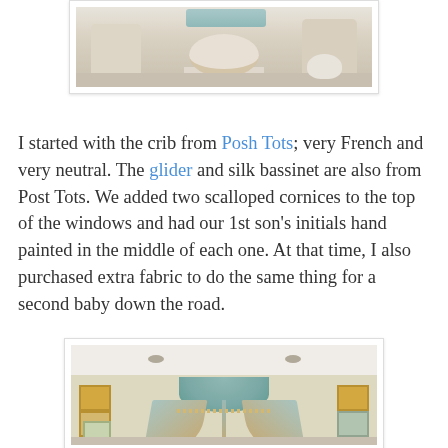[Figure (photo): Top portion of a nursery room photo showing white upholstered furniture including an ottoman and chairs, with light blue/teal cushions, on a neutral carpet]
I started with the crib from Posh Tots; very French and very neutral. The glider and silk bassinet are also from Post Tots. We added two scalloped cornices to the top of the windows and had our 1st son's initials hand painted in the middle of each one. At that time, I also purchased extra fabric to do the same thing for a second baby down the road.
[Figure (photo): Nursery room photo showing an elegant canopy/crown drape over a crib with teal and tan/gold striped fabric, framed artwork on cream walls, and recessed ceiling lights]